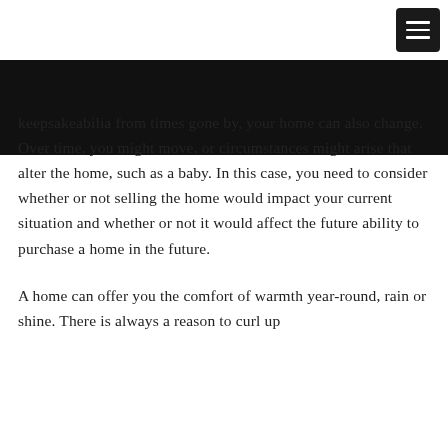keepsakeabilia from times gone by, your home can also change. Over time, you might move, or circumstances might arise that alter the home, such as a baby. In this case, you need to consider whether or not selling the home would impact your current situation and whether or not it would affect the future ability to purchase a home in the future.
A home can offer you the comfort of warmth year-round, rain or shine. There is always a reason to curl up